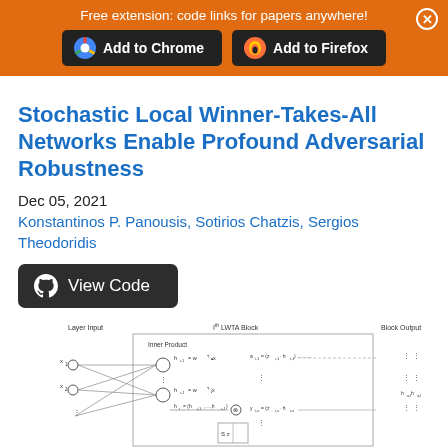Free extension: code links for papers anywhere!
Stochastic Local Winner-Takes-All Networks Enable Profound Adversarial Robustness
Dec 05, 2021
Konstantinos P. Panousis, Sotirios Chatzis, Sergios Theodoridis
[Figure (screenshot): View Code button with GitHub icon]
[Figure (schematic): Neural network diagram showing Layer Input, IP LWTA Block with Inner Product computations, and Block Output. Shows nodes x1, x2 connected through network with formulas for inner products and outputs.]